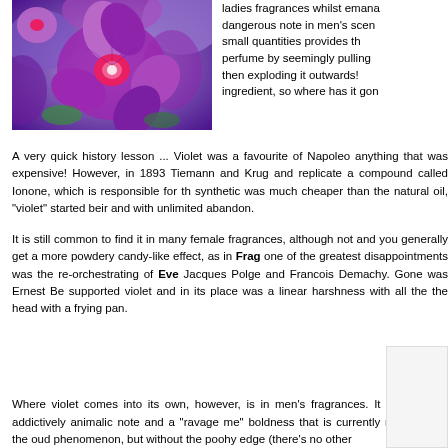[Figure (photo): Purple/violet flowers, close-up photograph showing vibrant purple blooms with magenta centers]
ladies fragrances whilst emana dangerous note in men's scen small quantities provides th perfume by seemingly pulling then exploding it outwards! ingredient, so where has it gon
A very quick history lesson ... Violet was a favourite of Napoleo anything that was expensive! However, in 1893 Tiemann and Kru and replicate a compound called Ionone, which is responsible for th synthetic was much cheaper than the natural oil, "violet" started bei and with unlimited abandon.
It is still common to find it in many female fragrances, although no and you generally get a more powdery candy-like effect, as in Frag one of the greatest disappointments was the re-orchestrating of Ev Jacques Polge and Francois Demachy. Gone was Ernest Be supported violet and in its place was a linear harshness with all th the head with a frying pan.
Where violet comes into its own, however, is in men's fragrances. It can add an addictively animalic note and a "ravage me" boldness that is currently reserved for the oud phenomenon, but without the poohy edge (there's no other